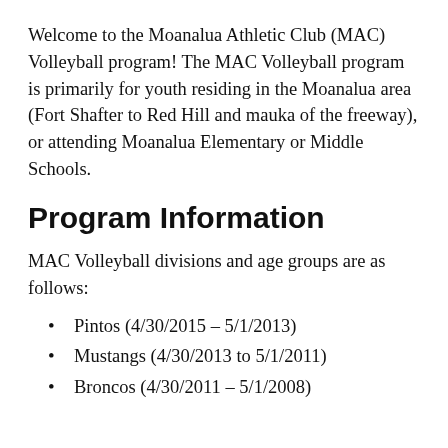Welcome to the Moanalua Athletic Club (MAC) Volleyball program! The MAC Volleyball program is primarily for youth residing in the Moanalua area (Fort Shafter to Red Hill and mauka of the freeway), or attending Moanalua Elementary or Middle Schools.
Program Information
MAC Volleyball divisions and age groups are as follows:
Pintos (4/30/2015 - 5/1/2013)
Mustangs (4/30/2013 to 5/1/2011)
Broncos (4/30/2011 - 5/1/2008)